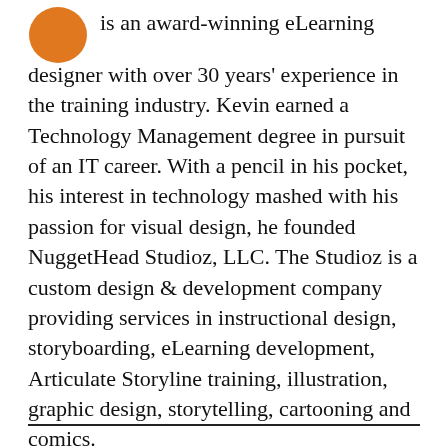is an award-winning eLearning designer with over 30 years' experience in the training industry. Kevin earned a Technology Management degree in pursuit of an IT career. With a pencil in his pocket, his interest in technology mashed with his passion for visual design, he founded NuggetHead Studioz, LLC. The Studioz is a custom design & development company providing services in instructional design, storyboarding, eLearning development, Articulate Storyline training, illustration, graphic design, storytelling, cartooning and comics.